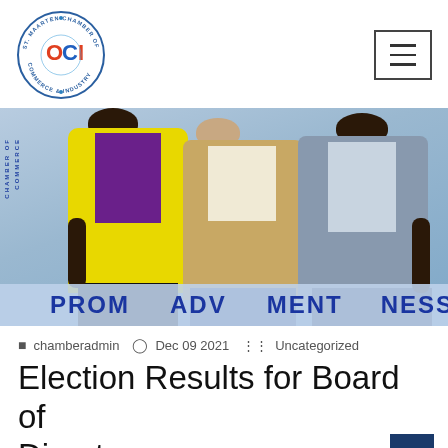[Figure (logo): St. Maarten Chamber of Commerce & Industry (OCI) circular logo]
[Figure (photo): Three people standing in front of a Chamber of Commerce banner. Person on left wearing a yellow jacket and purple shirt, person in middle wearing a beige/tan blazer, person on right wearing a grey suit jacket. Banner reads PROM ADV MENT NESS (partially visible words).]
chamberadmin  Dec 09 2021  Uncategorized
Election Results for Board of Directors